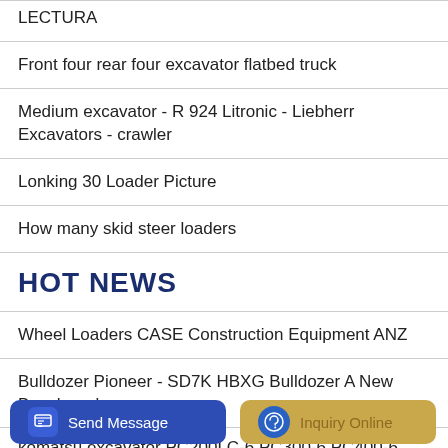LECTURA
Front four rear four excavator flatbed truck
Medium excavator - R 924 Litronic - Liebherr Excavators - crawler
Lonking 30 Loader Picture
How many skid steer loaders
HOT NEWS
Wheel Loaders CASE Construction Equipment ANZ
Bulldozer Pioneer - SD7K HBXG Bulldozer A New Benchmark
komatsu excavator PC200LC-6 PC300-6 PC400-6